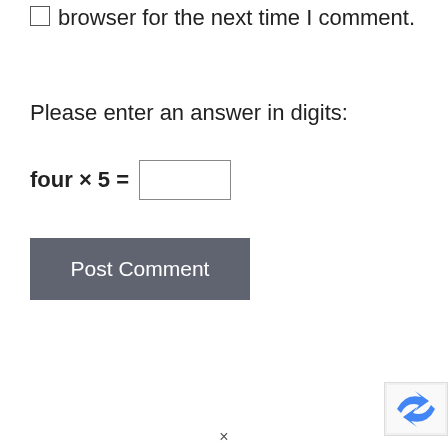browser for the next time I comment.
Please enter an answer in digits:
Post Comment
[Figure (logo): reCAPTCHA badge icon partially visible in bottom right corner]